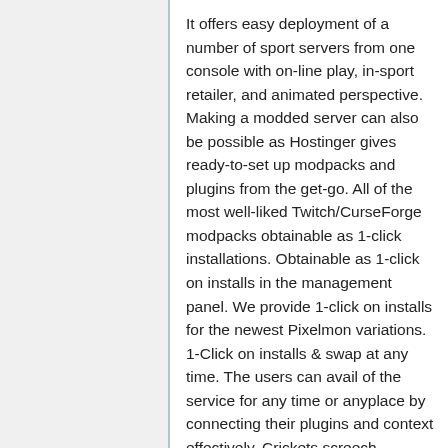It offers easy deployment of a number of sport servers from one console with on-line play, in-sport retailer, and animated perspective. Making a modded server can also be possible as Hostinger gives ready-to-set up modpacks and plugins from the get-go. All of the most well-liked Twitch/CurseForge modpacks obtainable as 1-click installations. Obtainable as 1-click on installs in the management panel. We provide 1-click on installs for the newest Pixelmon variations. 1-Click on installs & swap at any time. The users can avail of the service for any time or anyplace by connecting their plugins and context effectively. Crickets screech endlessly through the day and evening, though the point at which the audio loop restarts is painfully apparent each time it occurs. They've provided their